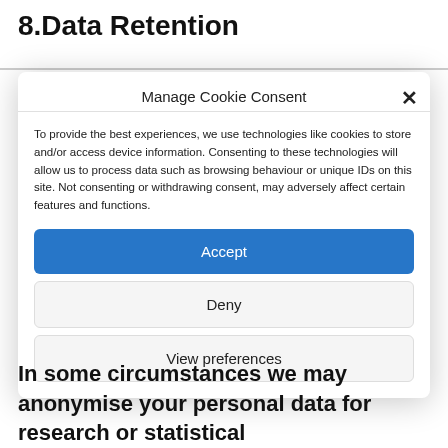8. Data Retention
[Figure (screenshot): Cookie consent modal dialog with title 'Manage Cookie Consent', a close (×) button, descriptive text about cookies, and three buttons: Accept, Deny, View preferences]
In some circumstances we may anonymise your personal data for research or statistical